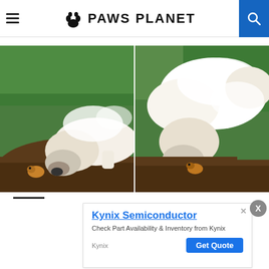PAWS PLANET
[Figure (photo): Two side-by-side photos of a large white dog sniffing and investigating a small animal (possibly a chipmunk or gopher) in a dirt mound in a grassy yard.]
Kynix Semiconductor
Check Part Availability & Inventory from Kynix
Kynix   Get Quote